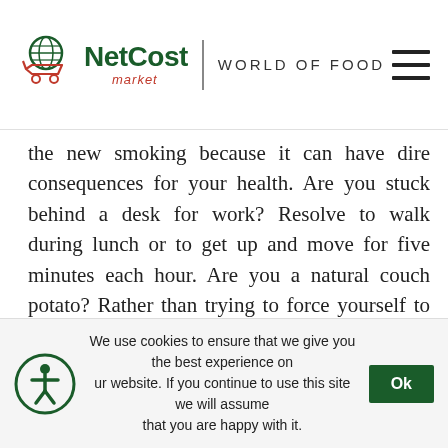NetCost market | WORLD OF FOOD
the new smoking because it can have dire consequences for your health. Are you stuck behind a desk for work? Resolve to walk during lunch or to get up and move for five minutes each hour. Are you a natural couch potato? Rather than trying to force yourself to go to the gym, find an activity you enjoy doing.
Sleep more. Sleep is vital for your health, and sleep deprivation increases your risk of weight gain, heart disease, and
We use cookies to ensure that we give you the best experience on our website. If you continue to use this site we will assume that you are happy with it. Ok